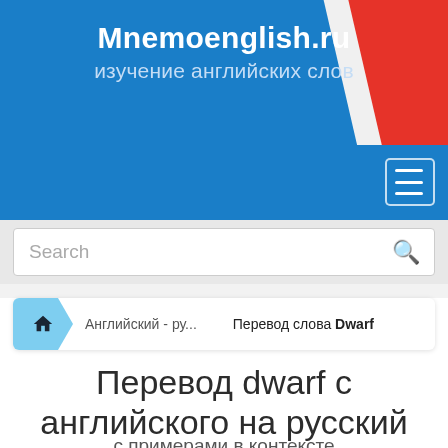Mnemoenglish.ru изучение английских слов
[Figure (screenshot): Website header banner with blue background and French flag diagonal stripe in red and white. Contains site name and tagline in white text.]
Search
Английский - ру... → Перевод слова Dwarf
Перевод dwarf с английского на русский
с примерами в контексте
Все варианты переводов: